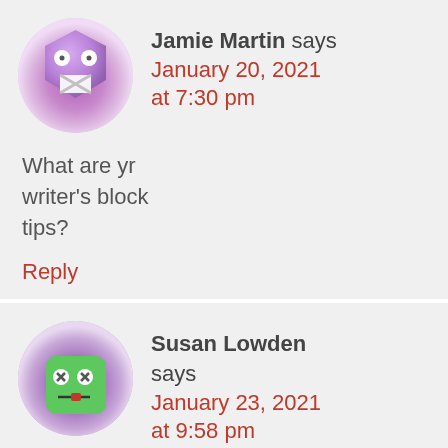[Figure (illustration): Purple hexagon-shaped avatar with cartoon eyes and crossed-tape mouth on circular purple gradient background]
Jamie Martin says
January 20, 2021
at 7:30 pm
What are yr writer’s block tips?
Reply
[Figure (illustration): Green square robot-face avatar with x-eyes and small mouth on circular purple gradient background]
Susan Lowden says
January 23, 2021
at 9:58 pm